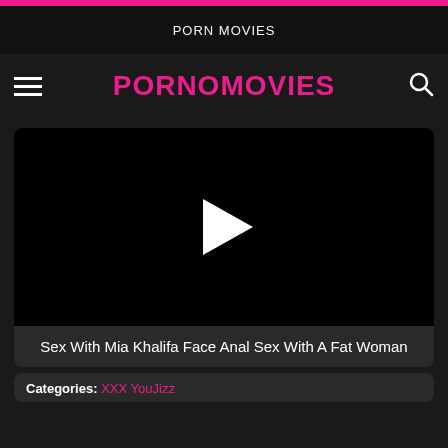PORN MOVIES
PORNOMOVIES
[Figure (screenshot): Black video thumbnail with white play button triangle in center]
Sex With Mia Khalifa Face Anal Sex With A Fat Woman
Categories: XXX YouJizz